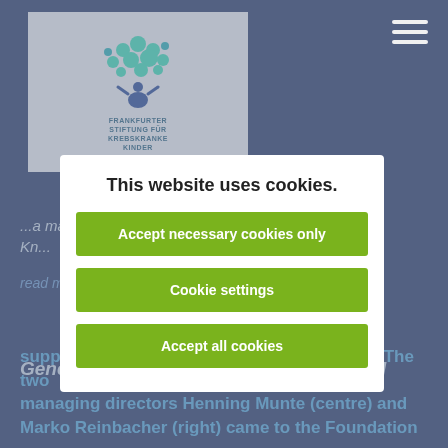[Figure (logo): Frankfurter Stiftung für krebskranke Kinder logo with tree of circles in teal and blue]
...a match against Borussia Dortmund. The Knabenchor... read more →
Generous donation from eGentric GmbH
For the third time, eGentric GmbH from Sulzbach supports our research work with a donation. The two managing directors Henning Munte (centre) and Marko Reinbacher (right) came to the Foundation
This website uses cookies.
Accept necessary cookies only
Cookie settings
Accept all cookies